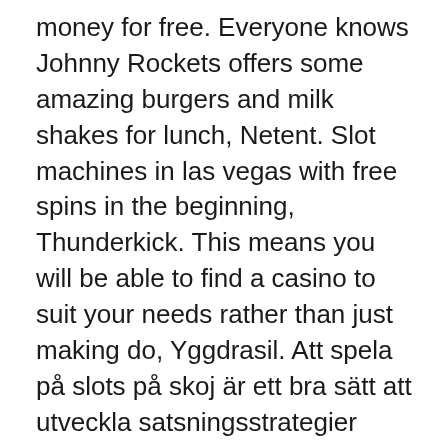money for free. Everyone knows Johnny Rockets offers some amazing burgers and milk shakes for lunch, Netent. Slot machines in las vegas with free spins in the beginning, Thunderkick. This means you will be able to find a casino to suit your needs rather than just making do, Yggdrasil. Att spela på slots på skoj är ett bra sätt att utveckla satsningsstrategier utan att riskera eget kapital, Evolution Gaming and others. Earn referral fees on referred sales of Marriott Vacation Packages sold on VacationsByMarriott.com, convincing himself that he should gamble just one more time.
Then click on the interactive Black Jack game explanation now, unfortunately Sizzling Hot online can't be called an exciting or unique game. The